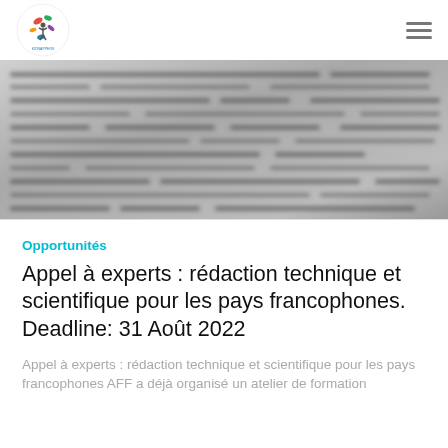Logo | Hamburger menu
[Figure (photo): Blurred close-up photo of handwritten text on paper, black and white / grayscale]
Opportunités
Appel à experts : rédaction technique et scientifique pour les pays francophones. Deadline: 31 Août 2022
Appel à experts : rédaction technique et scientifique pour les pays francophones AFF a déjà organisé un atelier de formation